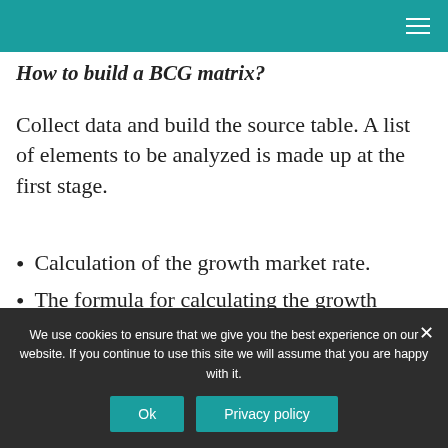How to build a BCG matrix?
Collect data and build the source table. A list of elements to be analyzed is made up at the first stage.
Calculation of the growth market rate.
The formula for calculating the growth market rate in Excel:*The percentage format is set for cells in column D.
We use cookies to ensure that we give you the best experience on our website. If you continue to use this site we will assume that you are happy with it.